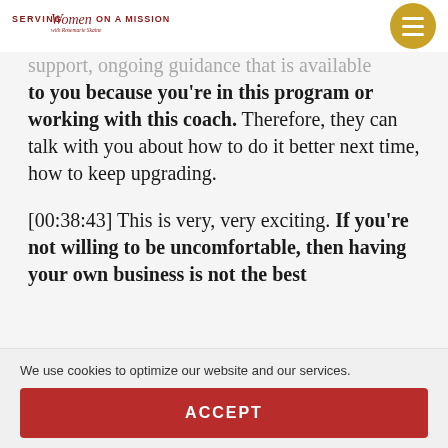Serving Women on a Mission
...support, ongoing guidance that is available to you because you're in this program or working with this coach. Therefore, they can talk with you about how to do it better next time, how to keep upgrading.
[00:38:43] This is very, very exciting. If you're not willing to be uncomfortable, then having your own business is not the best
We use cookies to optimize our website and our services.
ACCEPT